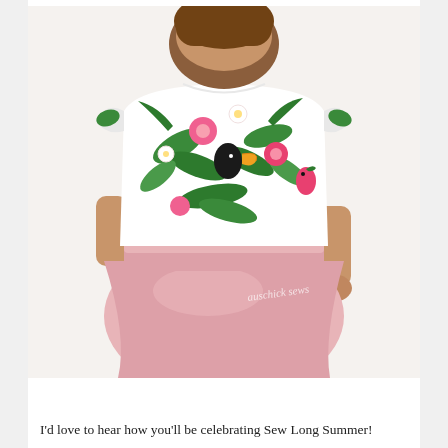[Figure (photo): A young girl wearing a dress with a tropical floral print bodice (featuring toucans, parrots, hibiscus, and palm leaves in pink, green, and white) and a plain pink skater skirt. She is posed against a white background. A watermark reads 'auschick sews'.]
I'd love to hear how you'll be celebrating Sew Long Summer!